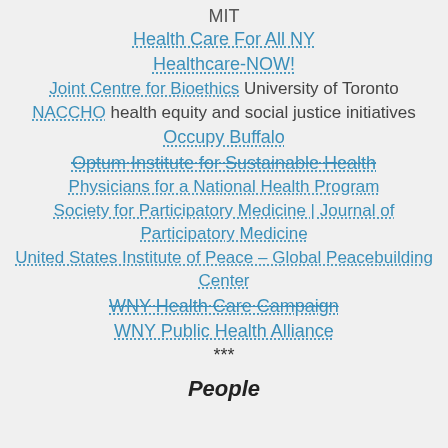MIT
Health Care For All NY
Healthcare-NOW!
Joint Centre for Bioethics University of Toronto
NACCHO health equity and social justice initiatives
Occupy Buffalo
Optum Institute for Sustainable Health (strikethrough)
Physicians for a National Health Program
Society for Participatory Medicine | Journal of Participatory Medicine
United States Institute of Peace – Global Peacebuilding Center
WNY Health Care Campaign (strikethrough)
WNY Public Health Alliance
***
People